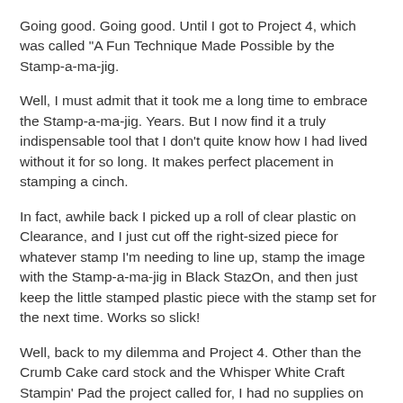Going good. Going good. Until I got to Project 4, which was called "A Fun Technique Made Possible by the Stamp-a-ma-jig.
Well, I must admit that it took me a long time to embrace the Stamp-a-ma-jig. Years. But I now find it a truly indispensable tool that I don't quite know how I had lived without it for so long. It makes perfect placement in stamping a cinch.
In fact, awhile back I picked up a roll of clear plastic on Clearance, and I just cut off the right-sized piece for whatever stamp I'm needing to line up, stamp the image with the Stamp-a-ma-jig in Black StazOn, and then just keep the little stamped plastic piece with the stamp set for the next time. Works so slick!
Well, back to my dilemma and Project 4. Other than the Crumb Cake card stock and the Whisper White Craft Stampin' Pad the project called for, I had no supplies on the list to recreate the card. So, as in all except the first one of the projects I've completed so far, I decided to use what I had and make it my own, while still focusing on the